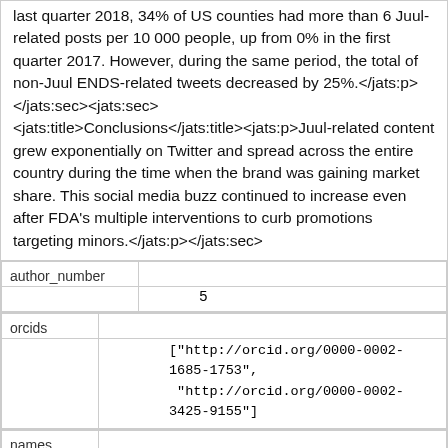last quarter 2018, 34% of US counties had more than 6 Juul-related posts per 10 000 people, up from 0% in the first quarter 2017. However, during the same period, the total of non-Juul ENDS-related tweets decreased by 25%.</jats:p></jats:sec><jats:sec><jats:title>Conclusions</jats:title><jats:p>Juul-related content grew exponentially on Twitter and spread across the entire country during the time when the brand was gaining market share. This social media buzz continued to increase even after FDA's multiple interventions to curb promotions targeting minors.</jats:p></jats:sec>
| author_number |  |
| --- | --- |
|  | 5 |
| orcids |  |
| --- | --- |
|  | ["http://orcid.org/0000-0002-1685-1753", "http://orcid.org/0000-0002-3425-9155"] |
| names |  |
| --- | --- |
|  | ["Yoonsang Kim", "Sherry L Emery", "Lisa Vera" |